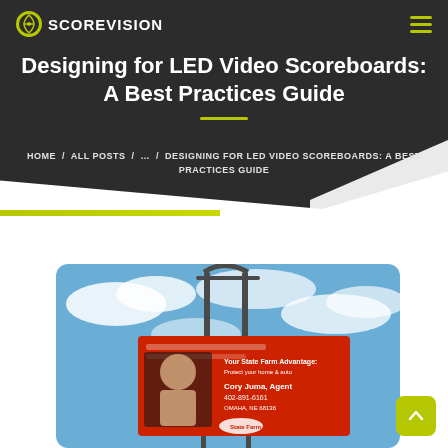SCOREVISION
Designing for LED Video Scoreboards: A Best Practices Guide
HOME / ALL POSTS / ... / DESIGNING FOR LED VIDEO SCOREBOARDS: A BEST PRACTICES GUIDE
[Figure (photo): LED video scoreboard displaying a State Farm insurance advertisement featuring agent Cory Juma, phone number 402-891-6161, Omaha NE 68136, mounted on an outdoor steel structure against a blue sky with clouds]